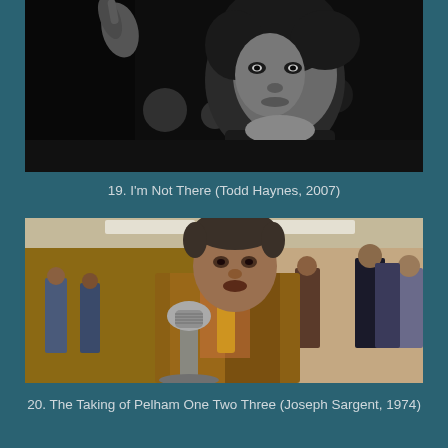[Figure (photo): Black and white film still showing a person with curly dark hair holding up one finger, looking at the camera with dark clothing in background]
19. I'm Not There (Todd Haynes, 2007)
[Figure (photo): Color film still showing a man in a brown blazer and yellow tie speaking into a vintage microphone in a busy office setting with many people in the background]
20. The Taking of Pelham One Two Three (Joseph Sargent, 1974)